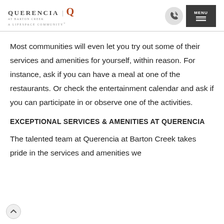QUERENCIA AT BARTON CREEK | A LIFESPACE COMMUNITY®
Most communities will even let you try out some of their services and amenities for yourself, within reason. For instance, ask if you can have a meal at one of the restaurants. Or check the entertainment calendar and ask if you can participate in or observe one of the activities.
EXCEPTIONAL SERVICES & AMENITIES AT QUERENCIA
The talented team at Querencia at Barton Creek takes pride in the services and amenities we